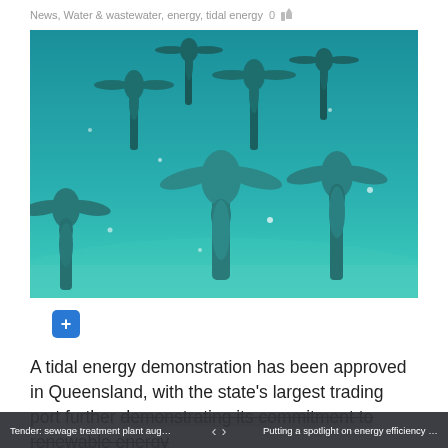News, Water & wastewater, energy, tidal energy   0
[Figure (photo): Underwater rendering of multiple tidal energy turbines installed on the seabed, with a teal/turquoise color tint showing several three-bladed turbines on poles anchored to the ocean floor.]
A tidal energy demonstration has been approved in Queensland, with the state's largest trading port further demonstrating its commitment to renewable energy
Tender: sewage treatment plant augmenta...   ‹   ›   Putting a spotlight on energy efficiency i...